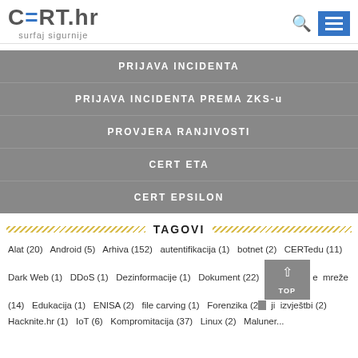[Figure (logo): CERT.hr logo with 'surfaj sigurnije' tagline]
PRIJAVA INCIDENTA
PRIJAVA INCIDENTA PREMA ZKS-u
PROVJERA RANJIVOSTI
CERT ETA
CERT EPSILON
TAGOVI
Alat (20) Android (5) Arhiva (152) autentifikacija (1) botnet (2) CERTedu (11) Dark Web (1) DDoS (1) Dezinformacije (1) Dokument (22) e mreže (14) Edukacija (1) ENISA (2) file carving (1) Forenzika (2) ji izvještbi (2) Hacknite.hr (1) IoT (6) Kompromitacija (37) Linux (2) Maluner...